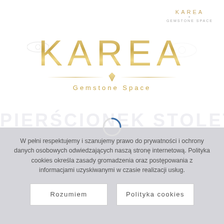[Figure (logo): Small KAREA Gemstone Space logo in top right corner, gold lettering]
[Figure (logo): Large centered KAREA Gemstone Space logo with gold gradient lettering, decorative lines, gem icon, and faint background watermark text PIERSCIONEK STOLET]
W pełni respektujemy i szanujemy prawo do prywatności i ochrony danych osobowych odwiedzających naszą stronę internetową. Polityka cookies określa zasady gromadzenia oraz postępowania z informacjami uzyskiwanymi w czasie realizacji usług.
Rozumiem
Polityka cookies